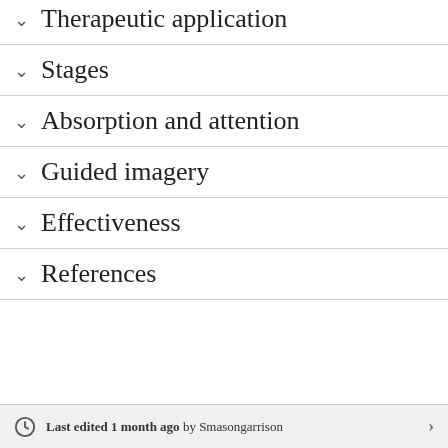Therapeutic application
Stages
Absorption and attention
Guided imagery
Effectiveness
References
Last edited 1 month ago by Smasongarrison